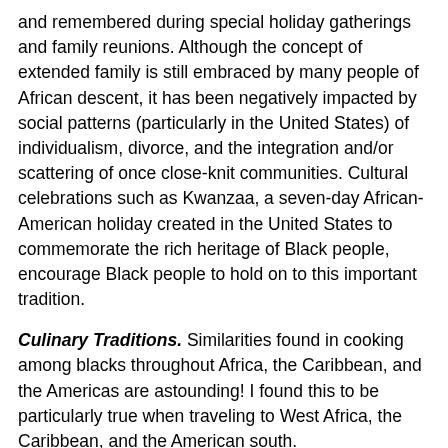and remembered during special holiday gatherings and family reunions. Although the concept of extended family is still embraced by many people of African descent, it has been negatively impacted by social patterns (particularly in the United States) of individualism, divorce, and the integration and/or scattering of once close-knit communities. Cultural celebrations such as Kwanzaa, a seven-day African-American holiday created in the United States to commemorate the rich heritage of Black people, encourage Black people to hold on to this important tradition.
Culinary Traditions. Similarities found in cooking among blacks throughout Africa, the Caribbean, and the Americas are astounding! I found this to be particularly true when traveling to West Africa, the Caribbean, and the American south.
While dining with the Adjei family in Ghana, I gorged myself on a hearty meal of okra stew accompanied with rice, a